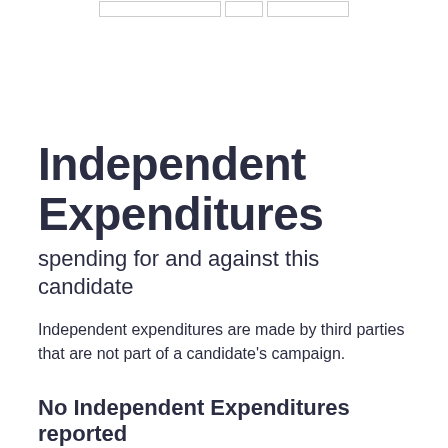[Figure (other): Partial UI elements: three outlined boxes at the top of the page]
Independent Expenditures
spending for and against this candidate
Independent expenditures are made by third parties that are not part of a candidate's campaign.
No Independent Expenditures reported
See Independent Expenditures →